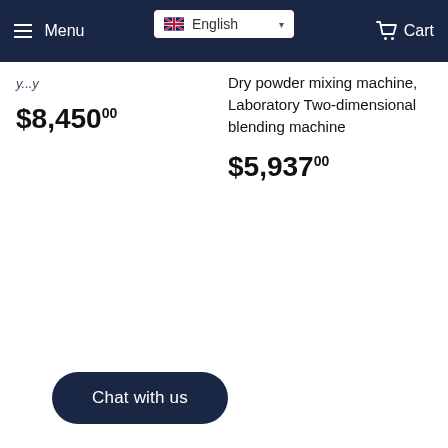Menu   English   Cart
$8,45000
Dry powder mixing machine, Laboratory Two-dimensional blending machine
$5,93700
Chat with us